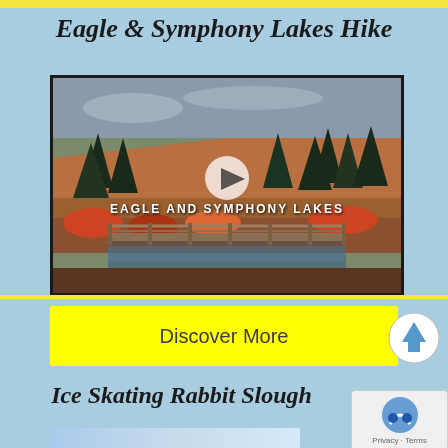Eagle & Symphony Lakes Hike
[Figure (photo): Video thumbnail showing Eagle and Symphony Lakes trail with autumn foliage, evergreen trees, wooden bridge over stream, and play button overlay. Text reads 'EAGLE AND SYMPHONY LAKES']
Discover More
Ice Skating Rabbit Slough
[Figure (photo): Partial photo strip at bottom showing a winter outdoor scene]